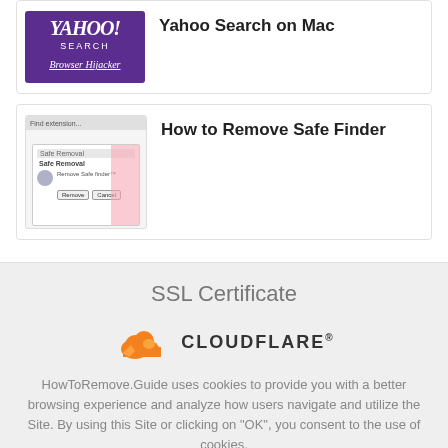[Figure (screenshot): Thumbnail image of Yahoo Search Browser Hijacker article with purple background]
Yahoo Search on Mac
[Figure (screenshot): Thumbnail image of How to Remove Safe Finder article showing a removal dialog]
How to Remove Safe Finder
SSL Certificate
[Figure (logo): Cloudflare logo with orange cloud icon and CLOUDFLARE text]
HowToRemove.Guide uses cookies to provide you with a better browsing experience and analyze how users navigate and utilize the Site. By using this Site or clicking on "OK", you consent to the use of cookies.
Ok
Privacy Policy